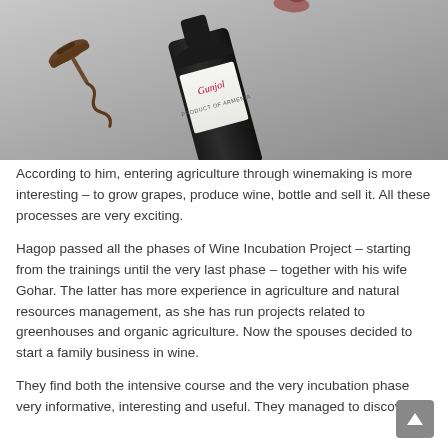[Figure (photo): A flat-lay photo showing a dark wine bottle labeled 'Product of Armenia' with a cursive brand name, lying on a grey surface next to an antique corkscrew.]
According to him, entering agriculture through winemaking is more interesting – to grow grapes, produce wine, bottle and sell it. All these processes are very exciting.
Hagop passed all the phases of Wine Incubation Project – starting from the trainings until the very last phase – together with his wife Gohar. The latter has more experience in agriculture and natural resources management, as she has run projects related to greenhouses and organic agriculture. Now the spouses decided to start a family business in wine.
They find both the intensive course and the very incubation phase very informative, interesting and useful. They managed to discover